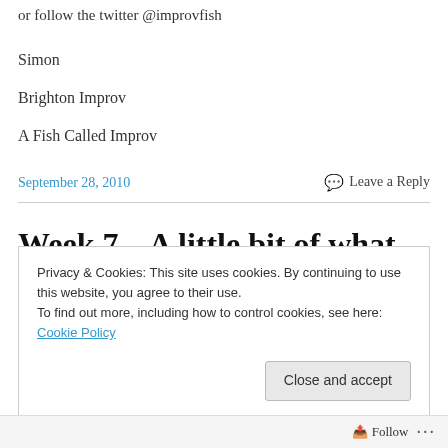or follow the twitter @improvfish
Simon
Brighton Improv
A Fish Called Improv
September 28, 2010
Leave a Reply
Week 7 – A little bit of what you
Privacy & Cookies: This site uses cookies. By continuing to use this website, you agree to their use.
To find out more, including how to control cookies, see here: Cookie Policy
Close and accept
Follow